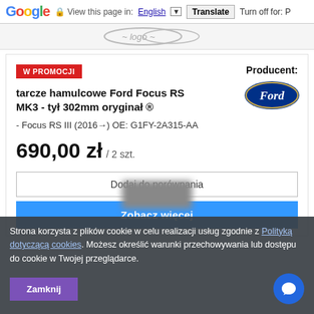Google | View this page in: English [Translate] Turn off for: P
[Figure (logo): Site logo/header area with swoosh-like logo elements]
W PROMOCJI
Producent:
tarcze hamulcowe Ford Focus RS MK3 - tył 302mm oryginał ®
[Figure (logo): Ford oval blue logo]
- Focus RS III (2016→) OE: G1FY-2A315-AA
690,00 zł / 2 szt.
Dodaj do porównania
Zobacz więcej
Strona korzysta z plików cookie w celu realizacji usług zgodnie z Polityką dotyczącą cookies. Możesz określić warunki przechowywania lub dostępu do cookie w Twojej przeglądarce.
Zamknij